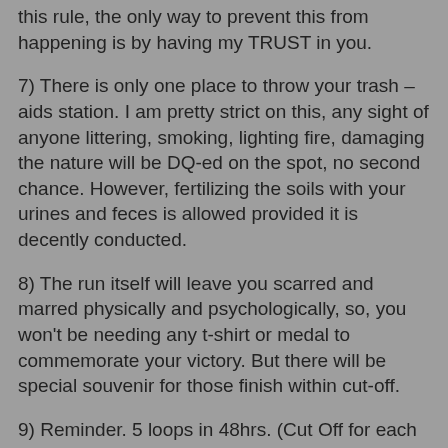this rule, the only way to prevent this from happening is by having my TRUST in you.
7) There is only one place to throw your trash – aids station. I am pretty strict on this, any sight of anyone littering, smoking, lighting fire, damaging the nature will be DQ-ed on the spot, no second chance. However, fertilizing the soils with your urines and feces is allowed provided it is decently conducted.
8) The run itself will leave you scarred and marred physically and psychologically, so, you won't be needing any t-shirt or medal to commemorate your victory. But there will be special souvenir for those finish within cut-off.
9) Reminder. 5 loops in 48hrs. (Cut Off for each loop applies and will be revealed soon). Not 4 loops, not 3 loops with broken leg or 2 loops with sprained ankle. Live up to the spirit of the challenge, if you fail, which most of you will, try again next year or in your own time – Nuang is always there!
10) If you are not pleased with (1) to (9), don't join. Don't